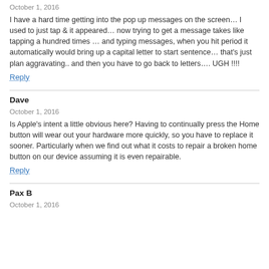October 1, 2016
I have a hard time getting into the pop up messages on the screen… I used to just tap & it appeared… now trying to get a message takes like tapping a hundred times … and typing messages, when you hit period it automatically would bring up a capital letter to start sentence… that's just plan aggravating.. and then you have to go back to letters…. UGH !!!!
Reply
Dave
October 1, 2016
Is Apple's intent a little obvious here? Having to continually press the Home button will wear out your hardware more quickly, so you have to replace it sooner. Particularly when we find out what it costs to repair a broken home button on our device assuming it is even repairable.
Reply
Pax B
October 1, 2016